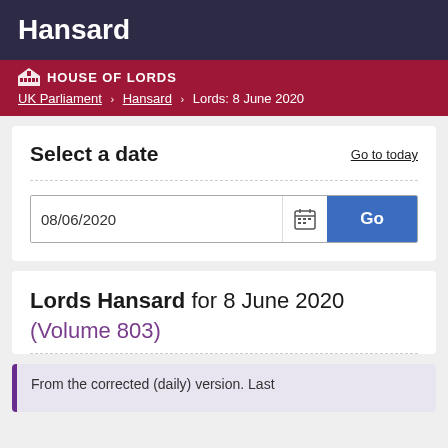Hansard
HOUSE OF LORDS | UK Parliament > Hansard > Lords: 8 June 2020
Select a date
Go to today
08/06/2020
Go
Lords Hansard for 8 June 2020 (Volume 803)
From the corrected (daily) version. Last